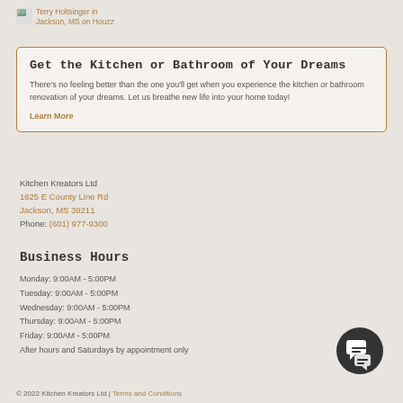[Figure (logo): Terry Holtsinger in Jackson, MS on Houzz badge with small image icon]
Get the Kitchen or Bathroom of Your Dreams
There's no feeling better than the one you'll get when you experience the kitchen or bathroom renovation of your dreams. Let us breathe new life into your home today!
Learn More
Kitchen Kreators Ltd
1625 E County Line Rd
Jackson, MS 39211
Phone: (601) 977-9300
Business Hours
Monday: 9:00AM - 5:00PM
Tuesday: 9:00AM - 5:00PM
Wednesday: 9:00AM - 5:00PM
Thursday: 9:00AM - 5:00PM
Friday: 9:00AM - 5:00PM
After hours and Saturdays by appointment only
[Figure (illustration): Dark circular chat/messaging icon button]
© 2022 Kitchen Kreators Ltd | Terms and Conditions